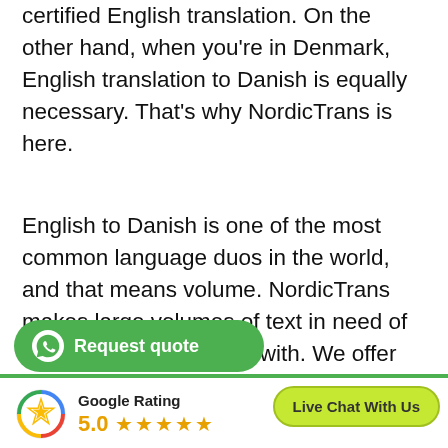certified English translation. On the other hand, when you're in Denmark, English translation to Danish is equally necessary. That's why NordicTrans is here.
English to Danish is one of the most common language duos in the world, and that means volume. NordicTrans makes large volumes of text in need of translation easy to deal with. We offer you the best professional English to Danish possible in terms of security and efficiency and that fits your pocket well.
[Figure (other): WhatsApp 'Request quote' green button with WhatsApp icon]
[Figure (other): Google Rating badge showing 5.0 stars with Google colored logo circle]
[Figure (other): Live Chat With Us button in lime green]
What Can You Expect From Us